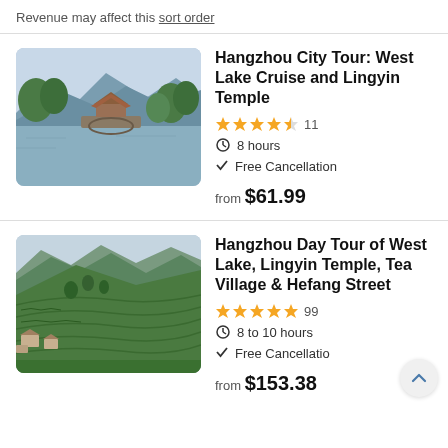Revenue may affect this sort order
[Figure (photo): A scenic lake view with a Chinese-style bridge pavilion, mountains and trees in the background (West Lake, Hangzhou)]
Hangzhou City Tour: West Lake Cruise and Lingyin Temple
4.5 stars, 11 reviews, 8 hours, Free Cancellation, from $61.99
[Figure (photo): Green terraced tea fields on rolling hills with a village below, mountains in the background (Hangzhou tea village)]
Hangzhou Day Tour of West Lake, Lingyin Temple, Tea Village & Hefang Street
5 stars, 99 reviews, 8 to 10 hours, Free Cancellation, from $153.38